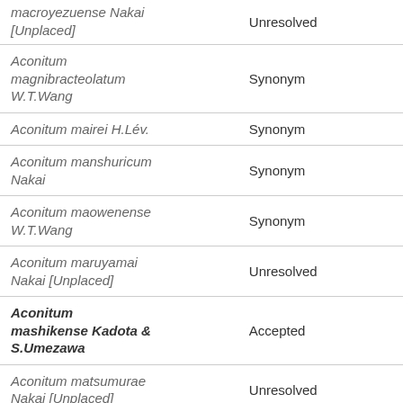| Name | Status |
| --- | --- |
| macroyezuense Nakai [Unplaced] | Unresolved |
| Aconitum magnibracteolatum W.T.Wang | Synonym |
| Aconitum mairei H.Lév. | Synonym |
| Aconitum manshuricum Nakai | Synonym |
| Aconitum maowenense W.T.Wang | Synonym |
| Aconitum maruyamai Nakai [Unplaced] | Unresolved |
| Aconitum mashikense Kadota & S.Umezawa | Accepted |
| Aconitum matsumurae Nakai [Unplaced] | Unresolved |
| Aconitum maximum Pall. ex DC. | Accepted |
| Aconitum maximum f. | Synonym |